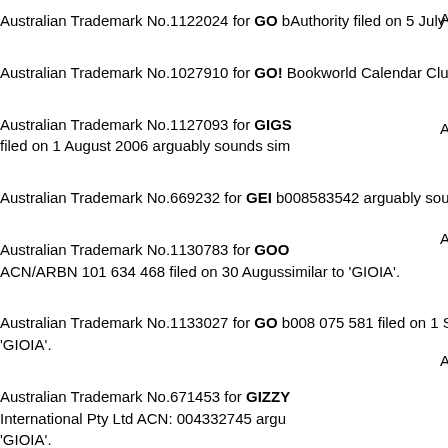Australian Trademark No.1122024 for GO by Authority filed on 5 July 2006 arguably sou...
Australian Trademark No.1027910 for GO! by Bookworld Calendar Club Pty Ltd arguably...
Australian Trademark No.1127093 for GIGS filed on 1 August 2006 arguably sounds sim...
Australian Trademark No.669232 for GEI by 008583542 arguably sounds similar to 'GIO...
Australian Trademark No.1130783 for GOO ACN/ARBN 101 634 468 filed on 30 August similar to 'GIOIA'.
Australian Trademark No.1133027 for GO by 008 075 581 filed on 1 September 2006 arg... 'GIOIA'.
Australian Trademark No.671453 for GIZZY International Pty Ltd ACN: 004332745 argu... 'GIOIA'.
Australian Trademark No.671902 for GAOO Industrial Co Ltd arguably sounds similar to...